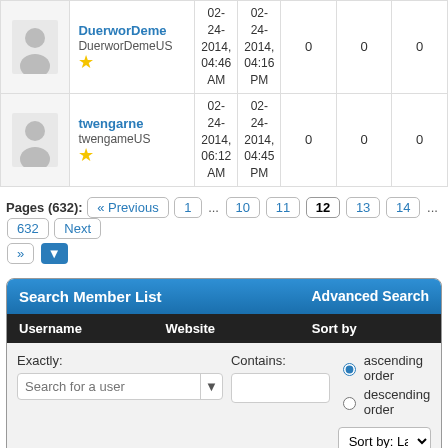| Avatar | User Info | Join Date | Last Activity | Col1 | Col2 | Col3 |
| --- | --- | --- | --- | --- | --- | --- |
| [avatar] | DuerworDeme
DuerworDemeUS
★ | 02-24-2014, 04:46 AM | 02-24-2014, 04:16 PM | 0 | 0 | 0 |
| [avatar] | twengarne
twengameUS
★ | 02-24-2014, 06:12 AM | 02-24-2014, 04:45 PM | 0 | 0 | 0 |
Pages (632): « Previous  1 ... 10  11  12  13  14 ... 632  Next »
| Search Member List | Advanced Search |
| --- | --- |
| Username | Website | Sort by |
| Exactly: [Search for a user ▼] | Contains: [ ] | ● ascending order
○ descending order
Sort by: Last ▼ |